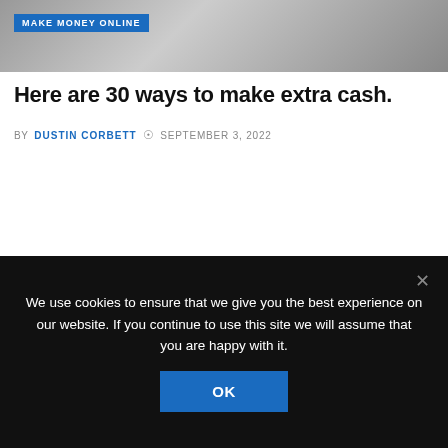[Figure (photo): Top banner image showing coins/money, with 'MAKE MONEY ONLINE' badge overlay]
Here are 30 ways to make extra cash.
BY DUSTIN CORBETT  © SEPTEMBER 3, 2022
[Figure (photo): Large content image placeholder (light gray), with 'MAKE MONEY ONLINE' badge at bottom left]
We use cookies to ensure that we give you the best experience on our website. If you continue to use this site we will assume that you are happy with it.